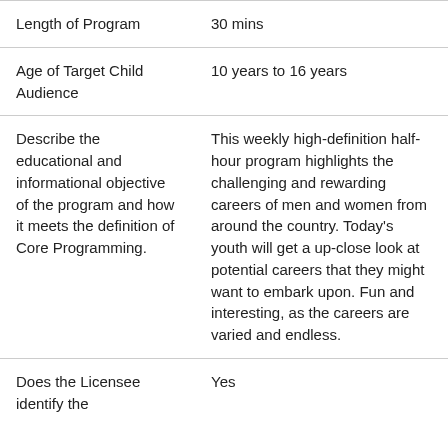| Length of Program | 30 mins |
| Age of Target Child Audience | 10 years to 16 years |
| Describe the educational and informational objective of the program and how it meets the definition of Core Programming. | This weekly high-definition half-hour program highlights the challenging and rewarding careers of men and women from around the country. Today's youth will get a up-close look at potential careers that they might want to embark upon. Fun and interesting, as the careers are varied and endless. |
| Does the Licensee identify the | Yes |